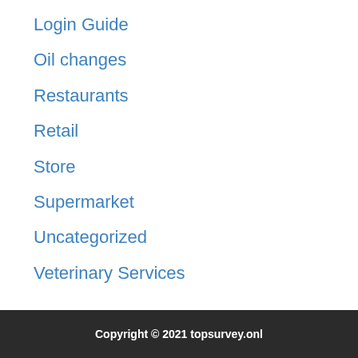Login Guide
Oil changes
Restaurants
Retail
Store
Supermarket
Uncategorized
Veterinary Services
Copyright © 2021 topsurvey.onl